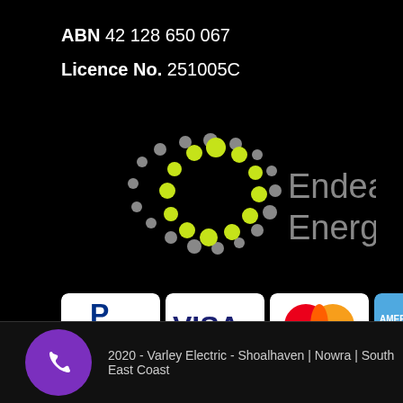ABN 42 128 650 067
Licence No. 251005C
[Figure (logo): Endeavour Energy logo with circular dot pattern in grey and lime green, company name in grey text]
[Figure (logo): Payment method badges: PayPal, Visa, MasterCard, American Express, Discover]
2020 - Varley Electric - Shoalhaven | Nowra | South East Coast